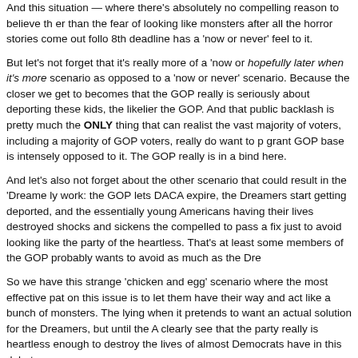And this situation — where there's absolutely no compelling reason to believe th er than the fear of looking like monsters after all the horror stories come out follo 8th deadline has a 'now or never' feel to it.
But let's not forget that it's really more of a 'now or hopefully later when it's more scenario as opposed to a 'now or never' scenario. Because the closer we get to becomes that the GOP really is seriously about deporting these kids, the likelier the GOP. And that public backlash is pretty much the ONLY thing that can realist the vast majority of voters, including a majority of GOP voters, really do want to p grant GOP base is intensely opposed to it. The GOP really is in a bind here.
And let's also not forget about the other scenario that could result in the 'Dreame ly work: the GOP lets DACA expire, the Dreamers start getting deported, and the essentially young Americans having their lives destroyed shocks and sickens the compelled to pass a fix just to avoid looking like the party of the heartless. That's at least some members of the GOP probably wants to avoid as much as the Dre
So we have this strange 'chicken and egg' scenario where the most effective pat on this issue is to let them have their way and act like a bunch of monsters. The lying when it pretends to want an actual solution for the Dreamers, but until the A clearly see that the party really is heartless enough to destroy the lives of almost Democrats have in this debate.
But what about all those pledges Paul Ryan has made about finding some soluti that he'll make good on that? Well, to answer that question, let's take a look at th